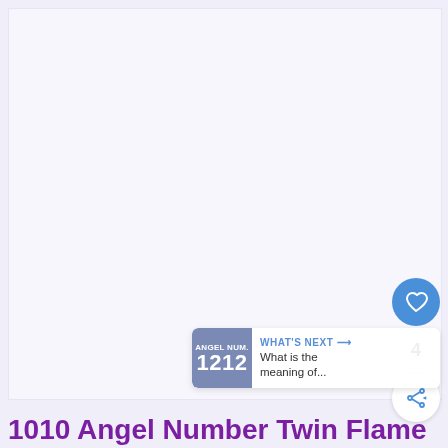[Figure (illustration): Large mostly white/light lavender image area, likely a featured article image placeholder for '1010 Angel Number Twin Flame']
[Figure (infographic): Social interaction widget: heart/like button (blue circle with heart icon), count '4', and share button (white circle with share icon)]
[Figure (screenshot): "What's Next" recommendation widget showing a circular badge with '1212' and text 'What is the meaning of...']
1010 Angel Number Twin Flame